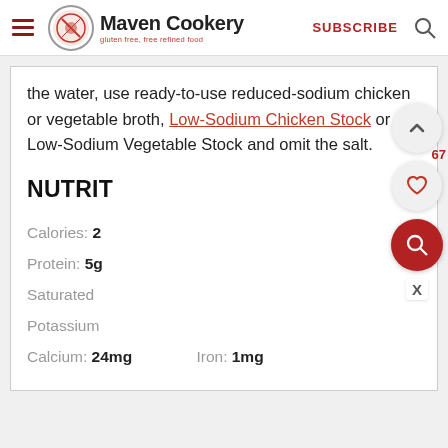Maven Cookery — gluten free, free refined food
the water, use ready-to-use reduced-sodium chicken or vegetable broth, Low-Sodium Chicken Stock or Low-Sodium Vegetable Stock and omit the salt.
NUTRIT
Calories: 2
Protein: 5g
Saturated
Potassium
Calcium: 24mg    Iron: 1mg